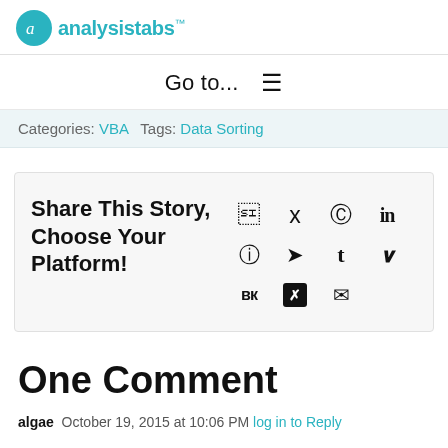analysistabs™
Go to...  ≡
Categories: VBA   Tags: Data Sorting
[Figure (infographic): Share This Story, Choose Your Platform! with social media icons: Facebook, Twitter, Reddit, LinkedIn, WhatsApp, Telegram, Tumblr, Pinterest, VK, Xing, Email]
One Comment
algae  October 19, 2015 at 10:06 PM  log in to Reply